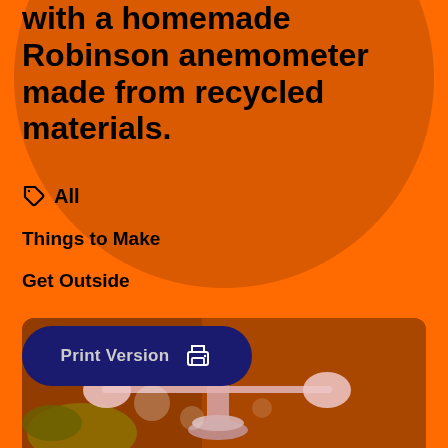with a homemade Robinson anemometer made from recycled materials.
All
Things to Make
Get Outside
Print Version
[Figure (photo): A homemade Robinson anemometer made from recycled materials, shown outdoors with greenery/plants in the background. The device has cup-shaped collectors on horizontal arms extending from a central vertical axis.]